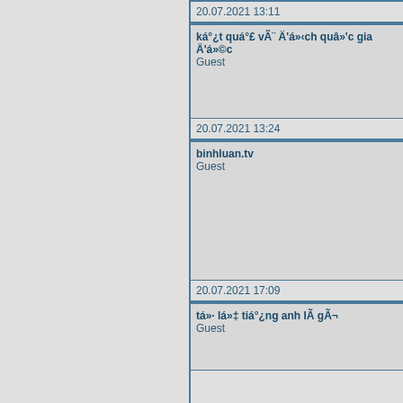20.07.2021 13:11
ká°¿t quá°£ vÃ¨ Ä'á»‹ch quâ»'c gia Ä'á»©c
Guest
20.07.2021 13:24
binhluan.tv
Guest
20.07.2021 17:09
tá»· lá»‡ tiá°¿ng anh IÃ gÃ¬
Guest